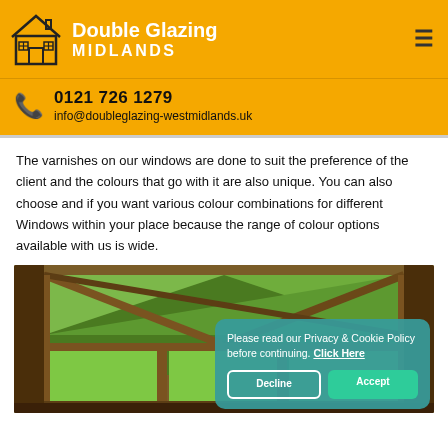Double Glazing MIDLANDS
0121 726 1279
info@doubleglazing-westmidlands.uk
The varnishes on our windows are done to suit the preference of the client and the colours that go with it are also unique. You can also choose and if you want various colour combinations for different Windows within your place because the range of colour options available with us is wide.
[Figure (photo): Interior view of a wooden-framed house roof with large triangular and rectangular windows looking out to green trees]
Please read our Privacy & Cookie Policy before continuing. Click Here
Decline
Accept